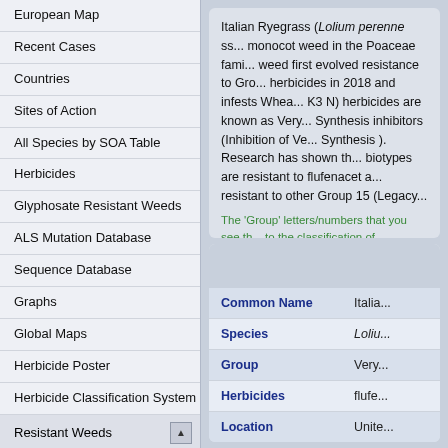European Map
Recent Cases
Countries
Sites of Action
All Species by SOA Table
Herbicides
Glyphosate Resistant Weeds
ALS Mutation Database
Sequence Database
Graphs
Global Maps
Herbicide Poster
Herbicide Classification System
Resistant Weeds
By Site of Action
By Crop
By Species
By Country
By Individual Herbicide
Membership
Italian Ryegrass (Lolium perenne ss... monocot weed in the Poaceae fami... weed first evolved resistance to Gro... herbicides in 2018 and infests Whea... K3 N) herbicides are known as Very... Synthesis inhibitors (Inhibition of Ve... Synthesis ). Research has shown th... biotypes are resistant to flufenacet a... resistant to other Group 15 (Legacy...
The 'Group' letters/numbers that you see th... to the classification of herbicides by their si... of herbicides and HRAC herbicide classifica...
| Common Name |  |
| --- | --- |
| Common Name | Italia... |
| Species | Loliu... |
| Group | Very... |
| Herbicides | flufe... |
| Location | Unite... |